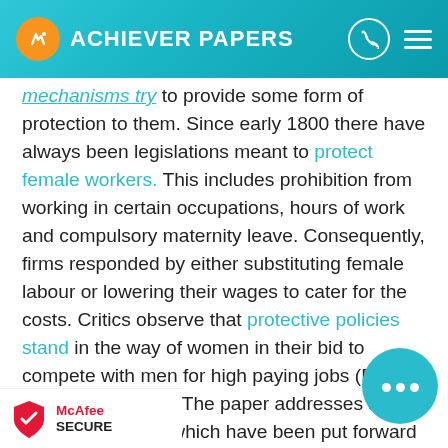ACHIEVER PAPERS
mechanisms try to provide some form of protection to them. Since early 1800 there have always been legislations meant to protect female workers. This includes prohibition from working in certain occupations, hours of work and compulsory maternity leave. Consequently, firms responded by either substituting female labour or lowering their wages to cater for the costs. Critics observe that protective policies stand in the way of women in their bid to compete with men for high paying jobs (Brown et al 2009, p.151). The paper addresses a range of theories which have been put forward to explain the position women occupy in employment. These theories including radical feminism, Marxist feminism and liberal feminism share some things in common. Apart from postmodernists, labour market segmentation and human capital model the proponents assume human behaviour biologically. On the contrary knowledge from